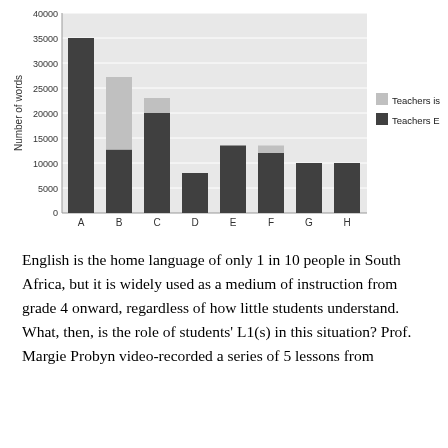[Figure (grouped-bar-chart): ]
English is the home language of only 1 in 10 people in South Africa, but it is widely used as a medium of instruction from grade 4 onward, regardless of how little students understand. What, then, is the role of students' L1(s) in this situation? Prof. Margie Probyn video-recorded a series of 5 lessons from